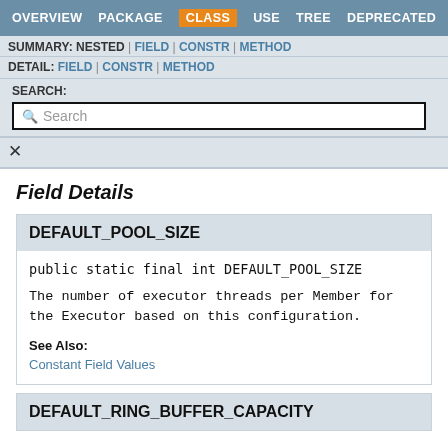OVERVIEW | PACKAGE | CLASS | USE | TREE | DEPRECATED
SUMMARY: NESTED | FIELD | CONSTR | METHOD
DETAIL: FIELD | CONSTR | METHOD
Field Details
DEFAULT_POOL_SIZE
public static final int DEFAULT_POOL_SIZE
The number of executor threads per Member for the Executor based on this configuration.
See Also:
Constant Field Values
DEFAULT_RING_BUFFER_CAPACITY